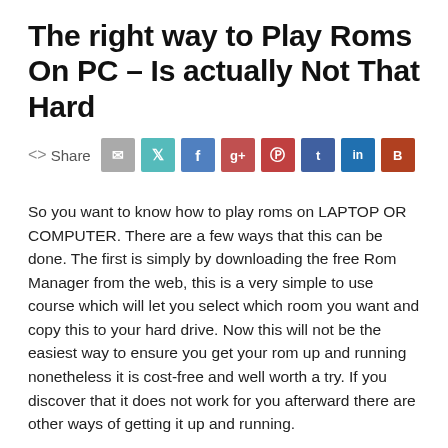The right way to Play Roms On PC – Is actually Not That Hard
[Figure (infographic): Social share bar with email, Twitter, Facebook, Google+, Pinterest, Tumblr, LinkedIn, and Blogger icon buttons]
So you want to know how to play roms on LAPTOP OR COMPUTER. There are a few ways that this can be done. The first is simply by downloading the free Rom Manager from the web, this is a very simple to use course which will let you select which room you want and copy this to your hard drive. Now this will not be the easiest way to ensure you get your rom up and running nonetheless it is cost-free and well worth a try. If you discover that it does not work for you afterward there are other ways of getting it up and running.
One of the most well-known ways of playing roms on PC is to use a program named RetroPie. This kind of software has become designed by an individual known as Mr. bieber Leedo. This software allows you to connect you're online and enjoy...